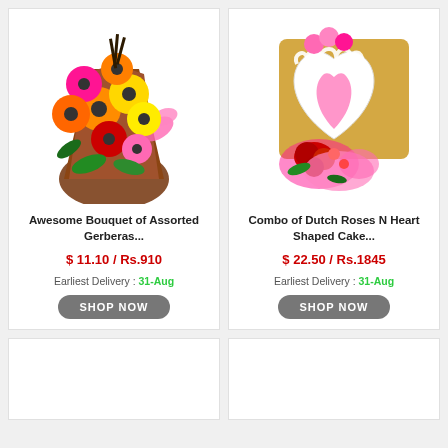[Figure (photo): Bouquet of assorted colorful gerbera flowers wrapped in brown paper with pink ribbon]
Awesome Bouquet of Assorted Gerberas...
$ 11.10 / Rs.910
Earliest Delivery : 31-Aug
SHOP NOW
[Figure (photo): Combo of red Dutch roses bouquet and heart-shaped white and pink cake]
Combo of Dutch Roses N Heart Shaped Cake...
$ 22.50 / Rs.1845
Earliest Delivery : 31-Aug
SHOP NOW